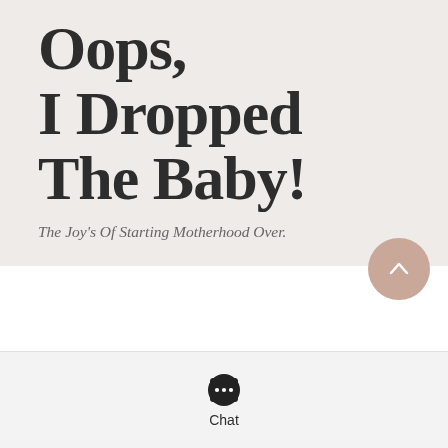Oops, I Dropped The Baby!
The Joy's Of Starting Motherhood Over.
went
eat
e.
w days
a
er. Up
g and
rk
about what was really happening with me. I wasn't sure but I had a strong feeling I was more than stressed-I was PREGNANT! I dread having to make that phone call but I did. James came with not one but two pregnancy tests. The moment I started peeing on the stick was just as quick as those two lines were appearing. Not only did my test
Chat